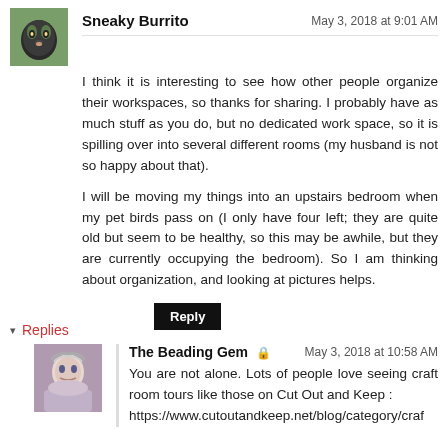[Figure (photo): Avatar image of a cat in a green/gray costume, square thumbnail]
Sneaky Burrito
May 3, 2018 at 9:01 AM
I think it is interesting to see how other people organize their workspaces, so thanks for sharing. I probably have as much stuff as you do, but no dedicated work space, so it is spilling over into several different rooms (my husband is not so happy about that).
I will be moving my things into an upstairs bedroom when my pet birds pass on (I only have four left; they are quite old but seem to be healthy, so this may be awhile, but they are currently occupying the bedroom). So I am thinking about organization, and looking at pictures helps.
Reply
Replies
[Figure (photo): Avatar image of a woman with gray/white hair, square thumbnail]
The Beading Gem
May 3, 2018 at 10:58 AM
You are not alone. Lots of people love seeing craft room tours like those on Cut Out and Keep : https://www.cutoutandkeep.net/blog/category/craf